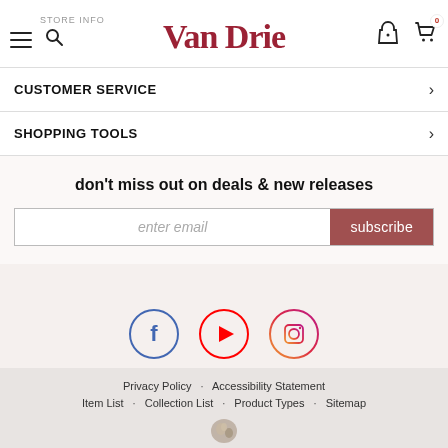STORE INFO | Van Drie | [hamburger] [search] [location] [cart 0]
CUSTOMER SERVICE >
SHOPPING TOOLS >
don't miss out on deals & new releases
enter email [subscribe]
[Figure (illustration): Social media icons: Facebook (blue circle), YouTube (red circle), Instagram (gradient circle)]
Privacy Policy   Accessibility Statement   Item List   Collection List   Product Types   Sitemap
Site Powered by: FurnitureDealer.net © 2006 - 2022 FurnitureDealer.net, Inc., All rights reserved.